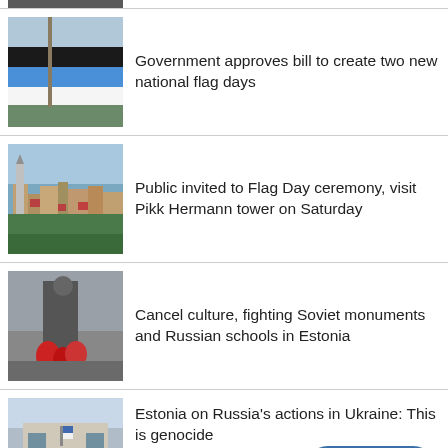[Figure (photo): Partial photo visible at top of page, cropped]
Government approves bill to create two new national flag days
[Figure (photo): Photo of Estonian flag flying against sky]
Public invited to Flag Day ceremony, visit Pikk Hermann tower on Saturday
[Figure (photo): Aerial photo of Tallinn old town rooftops]
Cancel culture, fighting Soviet monuments and Russian schools in Estonia
[Figure (photo): Photo of Soviet bronze soldier monument with red flowers]
Estonia on Russia's actions in Ukraine: This is genocide
[Figure (photo): Photo of building exterior in winter]
Estonian government to leave
[Figure (photo): Partial photo at bottom of page, cropped]